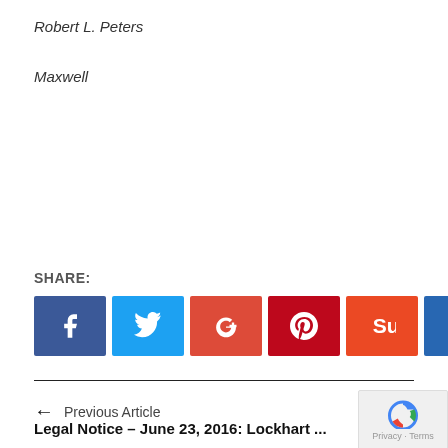Robert L. Peters
Maxwell
SHARE:
[Figure (other): Social share buttons: Facebook, Twitter, Google+, Pinterest, StumbleUpon, LinkedIn]
← Previous Article
Legal Notice – June 23, 2016: Lockhart ...